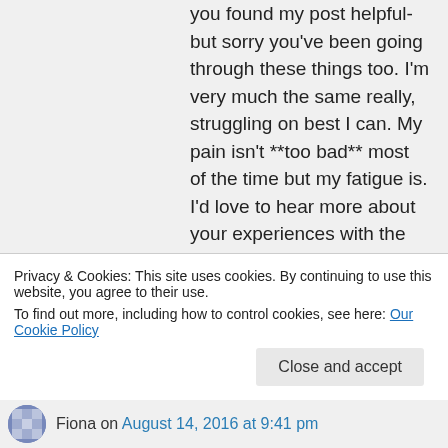you found my post helpful- but sorry you've been going through these things too. I'm very much the same really, struggling on best I can. My pain isn't **too bad** most of the time but my fatigue is. I'd love to hear more about your experiences with the disease.
Take care of yourself and please do keep in touch.
Claire
~
Privacy & Cookies: This site uses cookies. By continuing to use this website, you agree to their use.
To find out more, including how to control cookies, see here: Our Cookie Policy
Close and accept
Fiona on August 14, 2016 at 9:41 pm